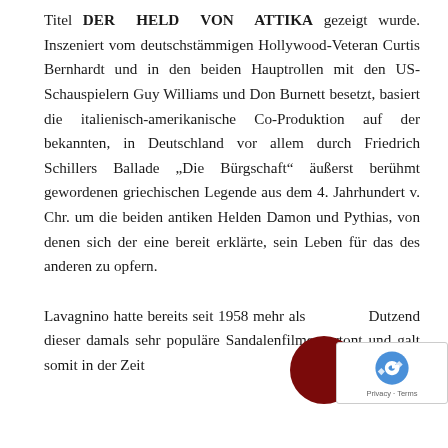Titel DER HELD VON ATTIKA gezeigt wurde. Inszeniert vom deutschstämmigen Hollywood-Veteran Curtis Bernhardt und in den beiden Hauptrollen mit den US-Schauspielern Guy Williams und Don Burnett besetzt, basiert die italienisch-amerikanische Co-Produktion auf der bekannten, in Deutschland vor allem durch Friedrich Schillers Ballade „Die Bürgschaft“ äußerst berühmt gewordenen griechischen Legende aus dem 4. Jahrhundert v. Chr. um die beiden antiken Helden Damon und Pythias, von denen sich der eine bereit erklärte, sein Leben für das des anderen zu opfern.

Lavagnino hatte bereits seit 1958 mehr als [ein] Dutzend dieser damals sehr populären Sandalenfilme vertont und galt somit in der Zeit